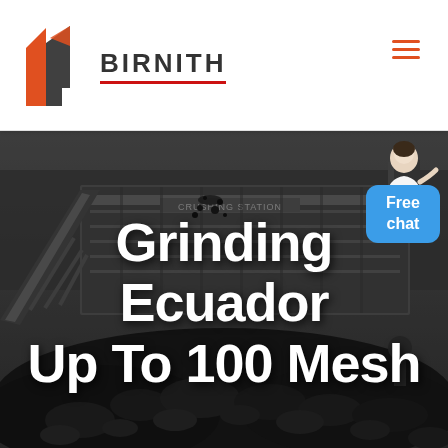BIRNITH
[Figure (photo): Industrial mining crushing station with conveyor belts and large machinery, with piles of crushed coal/rock in the foreground. Dark, moody industrial setting.]
Grinding Ecuador Up To 100 Mesh
Free chat